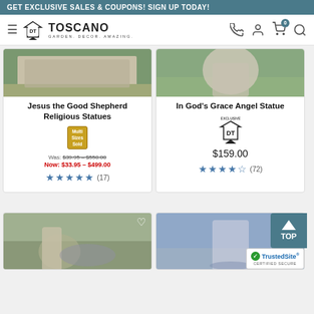GET EXCLUSIVE SALES & COUPONS! SIGN UP TODAY!
[Figure (logo): Design Toscano logo with tagline GARDEN. DECOR. AMAZING.]
Jesus the Good Shepherd Religious Statues
Was: $39.95 – $550.00
Now: $33.95 – $499.00
★★★★★ (17)
In God's Grace Angel Statue
$159.00
★★★★½ (72)
[Figure (photo): Religious garden statue in outdoor setting]
[Figure (photo): Religious garden statue outdoors with blue sky]